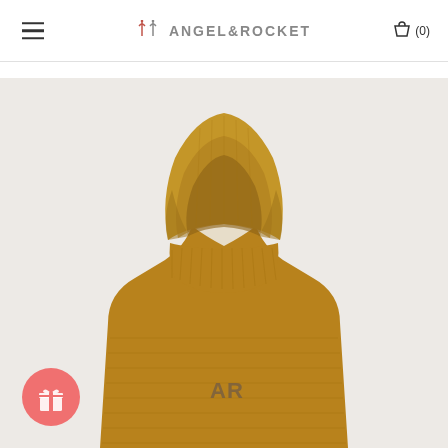≡  🏹 ANGEL&ROCKET  🛍(0)
[Figure (photo): A golden/caramel-colored ribbed knit children's hoodie displayed on a light grey background. The hood is up and the garment features an 'AR' logo on the chest. A pink circular gift badge icon is visible in the bottom-left corner.]